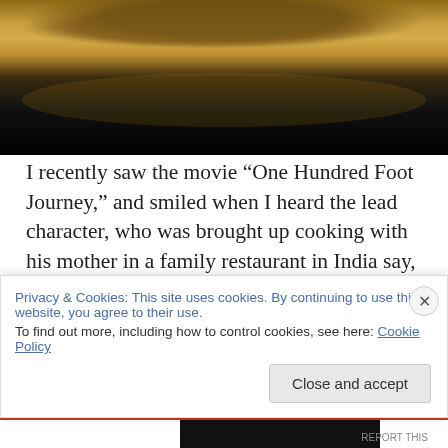[Figure (photo): Close-up photo of a yellow/golden plate with dark cooked meat and sauce on it, against a black background]
I recently saw the movie “One Hundred Foot Journey,” and smiled when I heard the lead character, who was brought up cooking with his mother in a family restaurant in India say,  “food is memories.” I couldn’t agree more. That has been the main idea behind this blog. With each recipe or aroma, I have a bevy of memories so eager to come forth
Privacy & Cookies: This site uses cookies. By continuing to use this website, you agree to their use.
To find out more, including how to control cookies, see here: Cookie Policy
Close and accept